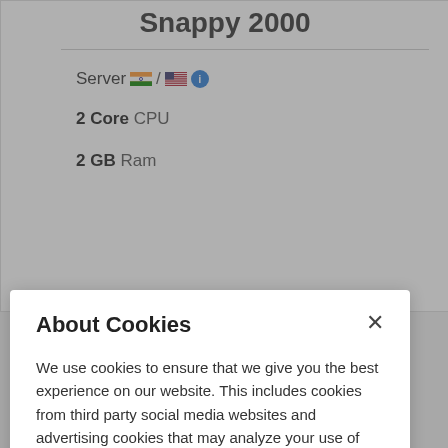Snappy 2000
Server 🇮🇳 / 🇺🇸 ℹ
2 Core CPU
2 GB Ram
About Cookies
We use cookies to ensure that we give you the best experience on our website. This includes cookies from third party social media websites and advertising cookies that may analyze your use of this site. Click "Got it" to agree or "Cookie Settings" to opt out.
Cookie Notice
Got It
Cookies Settings